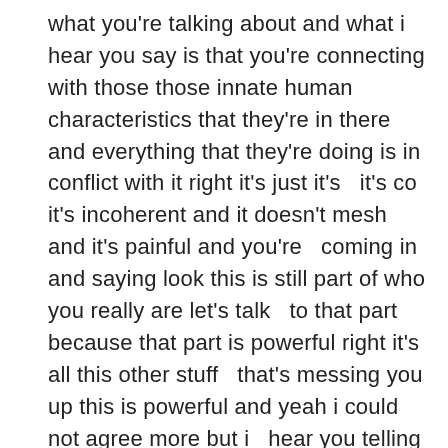what you're talking about and what i hear you say is that you're connecting with those those innate human characteristics that they're in there and everything that they're doing is in conflict with it right it's just it's   it's co it's incoherent and it doesn't mesh and it's painful and you're   coming in and saying look this is still part of who you really are let's talk   to that part because that part is powerful right it's all this other stuff   that's messing you up this is powerful and yeah i could not agree more but i   hear you telling me i mean i know over the years addiction recovery has   changed significantly but are you still seeing a huge portion of the industry   doing it differently yeah well yeah really doing